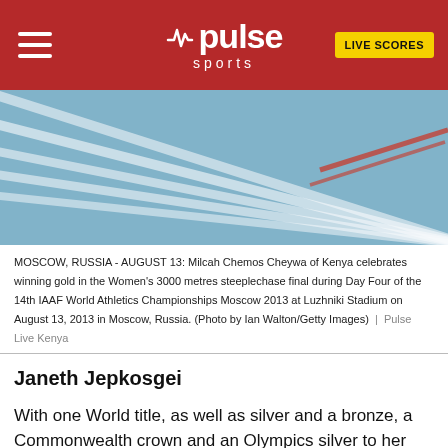pulse sports | LIVE SCORES
[Figure (photo): Athletics track lanes with blue surface and white lane lines, with a red finish line tape visible diagonally]
MOSCOW, RUSSIA - AUGUST 13: Milcah Chemos Cheywa of Kenya celebrates winning gold in the Women's 3000 metres steeplechase final during Day Four of the 14th IAAF World Athletics Championships Moscow 2013 at Luzhniki Stadium on August 13, 2013 in Moscow, Russia. (Photo by Ian Walton/Getty Images) | Pulse Live Kenya
Janeth Jepkosgei
With one World title, as well as silver and a bronze, a Commonwealth crown and an Olympics silver to her name, Janeth Jepkosgei has been one of the more consistent 800 metres athletes of the last two decade.